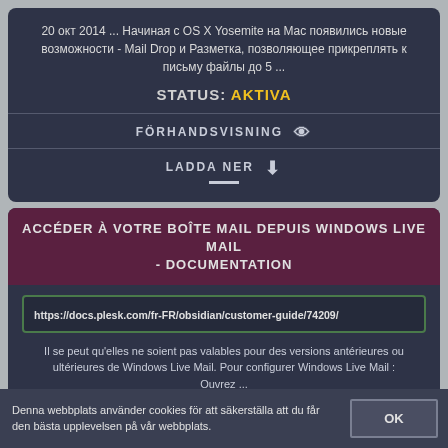20 окт 2014 ... Начиная с OS X Yosemite на Mac появились новые возможности - Mail Drop и Разметка, позволяющее прикреплять к письму файлы до 5 ...
STATUS: AKTIVA
FÖRHANDSVISNING 👁
LADDA NER ⬇
ACCÉDER À VOTRE BOÎTE MAIL DEPUIS WINDOWS LIVE MAIL - DOCUMENTATION
https://docs.plesk.com/fr-FR/obsidian/customer-guide/74209/
Il se peut qu'elles ne soient pas valables pour des versions antérieures ou ultérieures de Windows Live Mail. Pour configurer Windows Live Mail : Ouvrez ...
Denna webbplats använder cookies för att säkerställa att du får den bästa upplevelsen på vår webbplats.